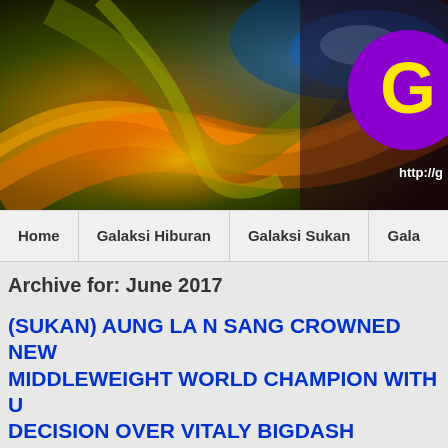[Figure (illustration): Website banner with colorful abstract swirling metallic background in orange, gold, green, blue tones. Purple circle logo with yellow letter G visible on right side. URL text 'http://g' visible at bottom right.]
Home | Galaksi Hiburan | Galaksi Sukan | Gala...
Archive for: June 2017
(SUKAN) AUNG LA N SANG CROWNED NEW MIDDLEWEIGHT WORLD CHAMPION WITH U DECISION OVER VITALY BIGDASH